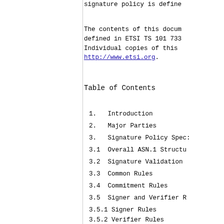signature policy is define
The contents of this docum defined in ETSI TS 101 733 Individual copies of this http://www.etsi.org.
Table of Contents
1.  Introduction
2.  Major Parties
3.  Signature Policy Spec:
3.1  Overall ASN.1 Structu
3.2  Signature Validation
3.3  Common Rules
3.4  Commitment Rules
3.5  Signer and Verifier R
3.5.1  Signer Rules
3.5.2  Verifier Rules
3.6  Certificate and Revoc
3.6.1  Certificate Require